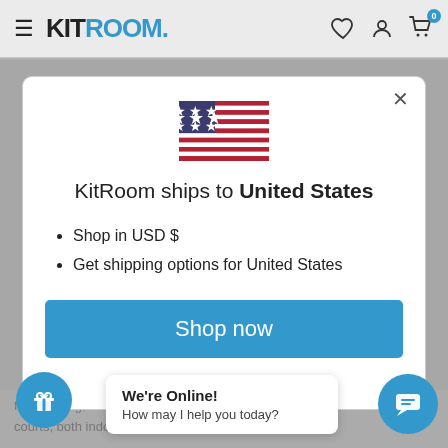KITROOM. [navbar with hamburger menu, heart icon, user icon, cart icon with badge 0]
[Figure (screenshot): US flag emoji / illustration centered in modal]
KitRoom ships to United States
Shop in USD $
Get shipping options for United States
Shop now
Change shipping country
for dribbling, courts, both indoors ar
We're Online! How may I help you today?